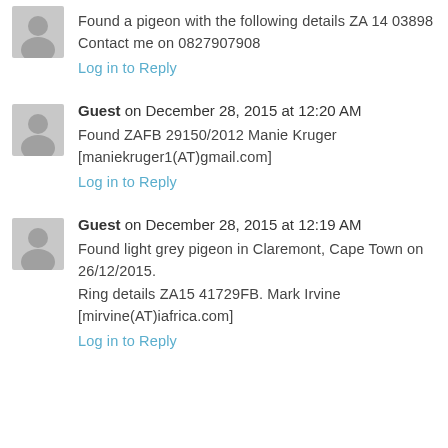Found a pigeon with the following details ZA 14 03898 Contact me on 0827907908
Log in to Reply
Guest on December 28, 2015 at 12:20 AM
Found ZAFB 29150/2012 Manie Kruger [maniekruger1(AT)gmail.com]
Log in to Reply
Guest on December 28, 2015 at 12:19 AM
Found light grey pigeon in Claremont, Cape Town on 26/12/2015.
Ring details ZA15 41729FB. Mark Irvine [mirvine(AT)iafrica.com]
Log in to Reply